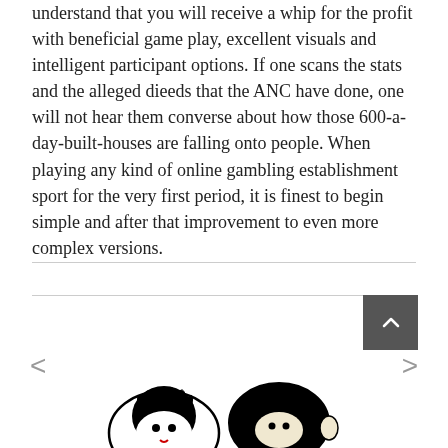understand that you will receive a whip for the profit with beneficial game play, excellent visuals and intelligent participant options. If one scans the stats and the alleged dieeds that the ANC have done, one will not hear them converse about how those 600-a-day-built-houses are falling onto people. When playing any kind of online gambling establishment sport for the very first period, it is finest to begin simple and after that improvement to even more complex versions.
[Figure (illustration): Illustration of cartoon-style figures/heads at the bottom of the page, black and white line art with some characters visible]